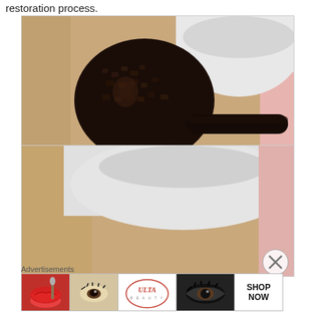restoration process.
[Figure (photo): Two photographs of a dark brown/black rusticated tobacco pipe next to a white ceramic bowl or jar, placed on a woven textile surface. Top photo shows a full side view of the pipe body and stem. Bottom photo shows a close-up view from above/behind.]
Advertisements
[Figure (photo): Advertisement banner showing beauty/cosmetics imagery: lips with red lipstick, makeup brush, eye with mascara, ULTA Beauty logo, dramatic eye close-up, and a 'SHOP NOW' button.]